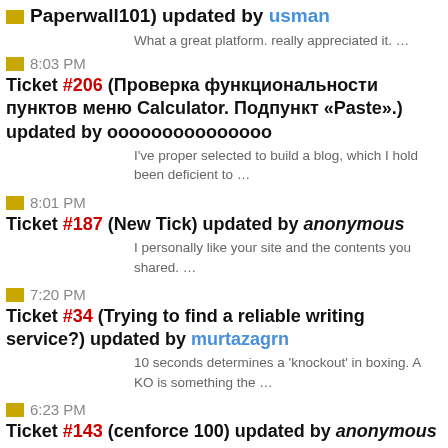Paperwall101) updated by usman
What a great platform. really appreciated it. …
8:03 PM Ticket #206 (Проверка функциональности пунктов меню Calculator. Подпункт «Paste».) updated by ооооооооооооооо
I've proper selected to build a blog, which I hold been deficient to …
8:01 PM Ticket #187 (New Tick) updated by anonymous
I personally like your site and the contents you shared. …
7:20 PM Ticket #34 (Trying to find a reliable writing service?) updated by murtazagrn
10 seconds determines a 'knockout' in boxing. A KO is something the …
6:23 PM Ticket #143 (cenforce 100) updated by anonymous
I really happy found this website eventually. Really informative and …
5:40 PM Ticket #400 (mysql dba training in chennai) updated by Alberto Torres